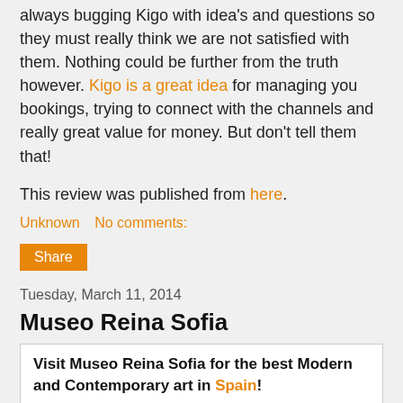always bugging Kigo with idea's and questions so they must really think we are not satisfied with them. Nothing could be further from the truth however. Kigo is a great idea for managing you bookings, trying to connect with the channels and really great value for money. But don't tell them that!
This review was published from here.
Unknown   No comments:
Share
Tuesday, March 11, 2014
Museo Reina Sofia
Visit Museo Reina Sofia for the best Modern and Contemporary art in Spain!
[Figure (photo): Black and white photograph of Picasso's Guernica painting showing figures in anguish]